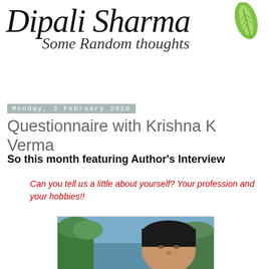Dipali Sharma Some Random thoughts
Monday, 3 February 2020
Questionnaire with Krishna K Verma
So this month featuring Author's Interview
Can you tell us a little about yourself? Your profession and your hobbies!!
[Figure (photo): Portrait photo of Krishna K Verma, a young man with dark hair, photographed outdoors near water and trees]